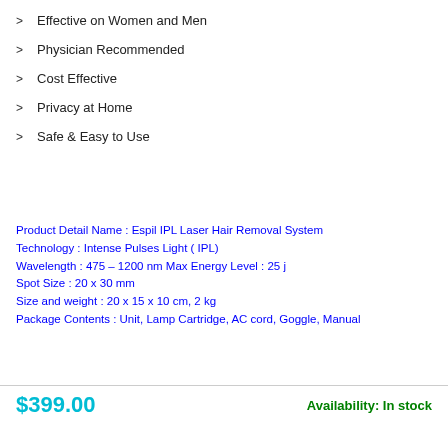Effective on Women and Men
Physician Recommended
Cost Effective
Privacy at Home
Safe & Easy to Use
Product Detail Name : Espil IPL Laser Hair Removal System
Technology : Intense Pulses Light ( IPL)
Wavelength : 475 – 1200 nm Max Energy Level : 25 j
Spot Size : 20 x 30 mm
Size and weight : 20 x 15 x 10 cm, 2 kg
Package Contents : Unit, Lamp Cartridge, AC cord, Goggle, Manual
$399.00
Availability: In stock